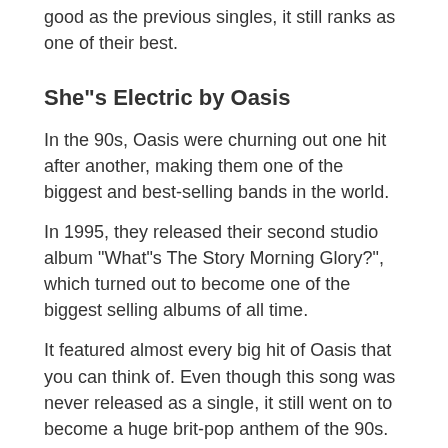#10 in the UK charts, though the position wasn't as good as the previous singles, it still ranks as one of their best.
She"s Electric by Oasis
In the 90s, Oasis were churning out one hit after another, making them one of the biggest and best-selling bands in the world.
In 1995, they released their second studio album "What"s The Story Morning Glory?", which turned out to become one of the biggest selling albums of all time.
It featured almost every big hit of Oasis that you can think of. Even though this song was never released as a single, it still went on to become a huge brit-pop anthem of the 90s.